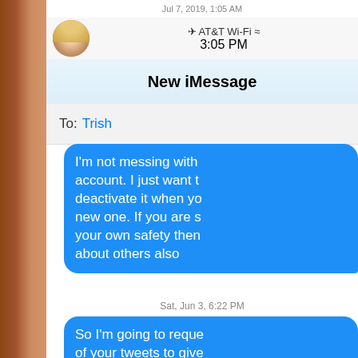Jul 7, 2019, 1:05 AM
[Figure (screenshot): iOS status bar showing AT&T Wi-Fi carrier, airplane mode icon, Wi-Fi signal, and time 3:05 PM]
New iMessage
To: Trish
I'm not messing with account. I just want to deactivate it when you new one. If you are s your own safety then about others also
Sat, Jun 3, 6:22 PM
So I'm going to reque of your tweets to give once I have handed